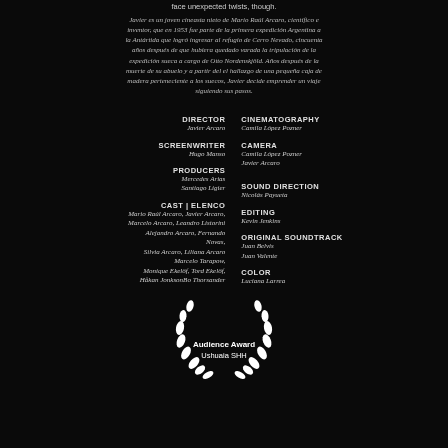face unexpected twists, though.
Javier es un joven cineasta nieto de Mario Raúl Arcaro, científico e inventor, que en 1953 fue parte de la primera expedición Argentina a la Antártida que logró ingresar al refugio de Cerro Nevado, cincuenta años después de que hubiera quedado varada la tripulación de la expedición sueca a cargo de Otto Nordenskjöld. Años después de la muerte de su abuelo y a partir del el hallazgo de una pequeña caja de madera perteneciente a los suecos, Javier decide emprender un viaje siguiendo sus pasos.
DIRECTOR
Javier Arcaro
CINEMATOGRAPHY
Camila López Pozner
SCREENWRITER
Hugo Manso
CAMERA
Camila López Pozner
Javier Arcaro
PRODUCERS
Mercedes Arias
Santiago Ligier
SOUND DIRECTION
Nicolás Payueta
CAST | ELENCO
Mario Raúl Arcaro, Javier Arcaro,
Marcelo Arcaro, Leandro Listorini
Alejandro Arcaro, Fernando Novas,
Silvia Arcaro, Liliana Arcaro
Marcelo Tarapow,
Monique Ekelöf, Tord Ekelöf,
Håkan JonksonBo Thorsander
EDITING
Kevin Jenkins
ORIGINAL SOUNDTRACK
Juan Belvis
Juan Valente
COLOR
Luciana Larrea
[Figure (illustration): Laurel wreath award emblem with text 'Audience Award Ushuaia SHH' in white on black background]